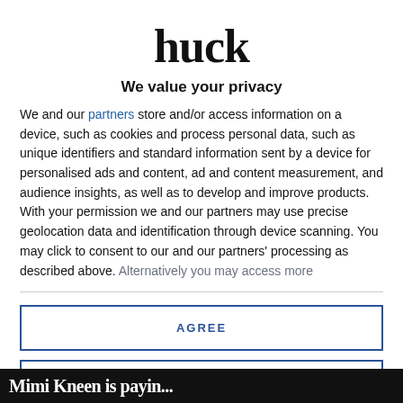huck
We value your privacy
We and our partners store and/or access information on a device, such as cookies and process personal data, such as unique identifiers and standard information sent by a device for personalised ads and content, ad and content measurement, and audience insights, as well as to develop and improve products. With your permission we and our partners may use precise geolocation data and identification through device scanning. You may click to consent to our and our partners' processing as described above. Alternatively you may access more
AGREE
MORE OPTIONS
Mimi Kneen is payin...